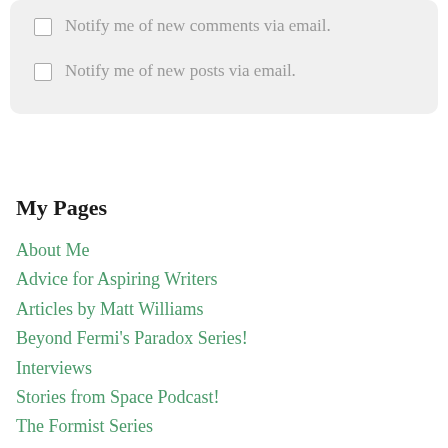Notify me of new comments via email.
Notify me of new posts via email.
My Pages
About Me
Advice for Aspiring Writers
Articles by Matt Williams
Beyond Fermi's Paradox Series!
Interviews
Stories from Space Podcast!
The Formist Series
***The Frost Line Fracture – Sample
**The Jovian Manifesto – Sample
*The Cronian Incident – Sample